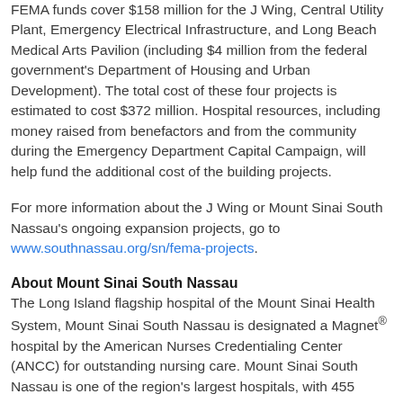FEMA funds cover $158 million for the J Wing, Central Utility Plant, Emergency Electrical Infrastructure, and Long Beach Medical Arts Pavilion (including $4 million from the federal government's Department of Housing and Urban Development). The total cost of these four projects is estimated to cost $372 million. Hospital resources, including money raised from benefactors and from the community during the Emergency Department Capital Campaign, will help fund the additional cost of the building projects.
For more information about the J Wing or Mount Sinai South Nassau's ongoing expansion projects, go to www.southnassau.org/sn/fema-projects.
About Mount Sinai South Nassau
The Long Island flagship hospital of the Mount Sinai Health System, Mount Sinai South Nassau is designated a Magnet® hospital by the American Nurses Credentialing Center (ANCC) for outstanding nursing care. Mount Sinai South Nassau is one of the region's largest hospitals, with 455